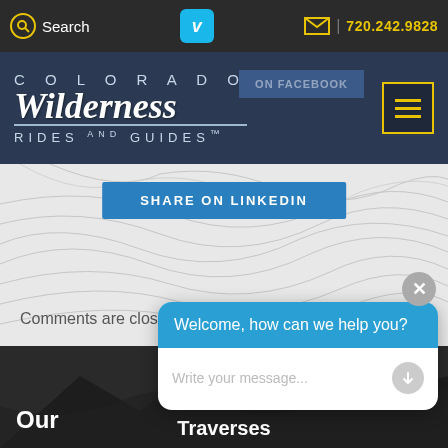Search | Vimeo | 720.242.9828
COLORADO Wilderness RIDES AND GUIDES™
SHARE ON LINKEDIN
Comments are closed.
Welcome, how can we help you?
Write your message...
Our Traverses